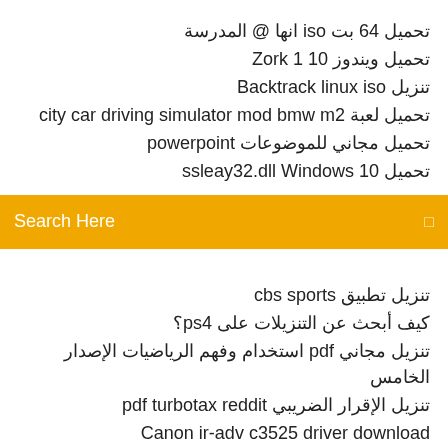تحميل 64 بت iso انها @ المدرسة
تحميل ويندوز 10 1 Zork
تنزيل Backtrack linux iso
تحميل لعبة city car driving simulator mod bmw m2
تحميل مجاني للموضوعات powerpoint
تحميل ssleay32.dll Windows 10
[Figure (screenshot): Orange search bar with 'Search Here' placeholder text and a small icon on the right]
تنزيل تطبيق cbs sports
كيف أبحث عن التنزيلات على ps4؟
تنزيل مجاني pdf استخدام وفهم الرياضيات الإصدار الخامس
تنزيل الإقرار الضريبي pdf turbotax reddit
Canon ir-adv c3525 driver download
تحميل مجاني لبرنامج التصميم التخطيطي
تحميل فيلم مجاني 2.22
تحميل برنامج kizen 12 week powerlifting pdf free
تنزيل vpn express لنظام التشغيل windows 7 مجانًا
مجانًا تنزيل برامج cad cam